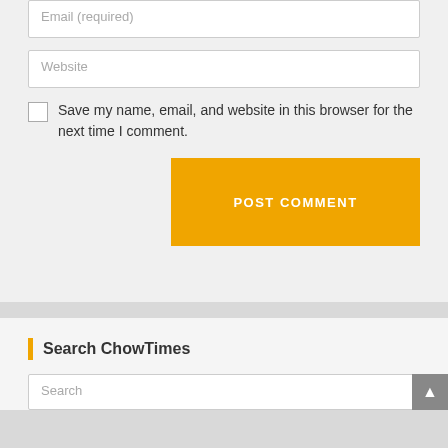Email (required)
Website
Save my name, email, and website in this browser for the next time I comment.
POST COMMENT
Search ChowTimes
Search